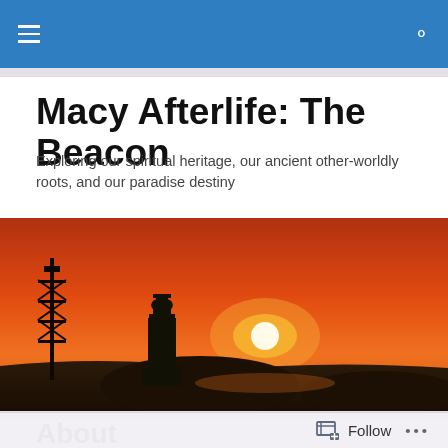Navigation bar with menu and search icons
Macy Afterlife: The Beacon
Exploring our spiritual heritage, our ancient other-worldly roots, and our paradise destiny
[Figure (photo): A panoramic sunset photo with a lighthouse silhouette and a glowing orange-red sky with the sun visible on the horizon]
About
I grew up in a journalism family. My dad published a small-
Follow ...